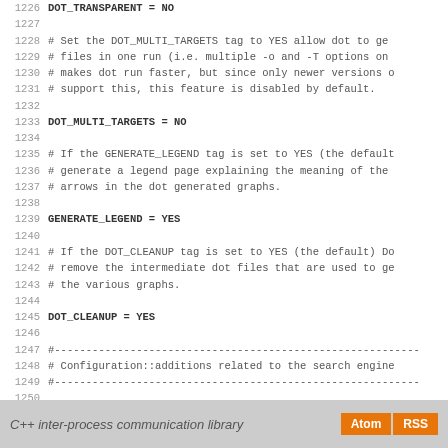1226  DOT_TRANSPARENT         = NO
1227
1228  # Set the DOT_MULTI_TARGETS tag to YES allow dot to ge
1229  # files in one run (i.e. multiple -o and -T options on
1230  # makes dot run faster, but since only newer versions o
1231  # support this, this feature is disabled by default.
1232
1233  DOT_MULTI_TARGETS         = NO
1234
1235  # If the GENERATE_LEGEND tag is set to YES (the default
1236  # generate a legend page explaining the meaning of the
1237  # arrows in the dot generated graphs.
1238
1239  GENERATE_LEGEND           = YES
1240
1241  # If the DOT_CLEANUP tag is set to YES (the default) Do
1242  # remove the intermediate dot files that are used to ge
1243  # the various graphs.
1244
1245  DOT_CLEANUP               = YES
1246
1247  #----------------------------------------------------------
1248  # Configuration::additions related to the search engine
1249  #----------------------------------------------------------
1250
1251  # The SEARCHENGINE tag specifies whether or not a searc
1252  # used. If set to NO the values of all tags below this
1253
1254  SEARCHENGINE              = NO
C++ inter-process communication library  Atom  RSS